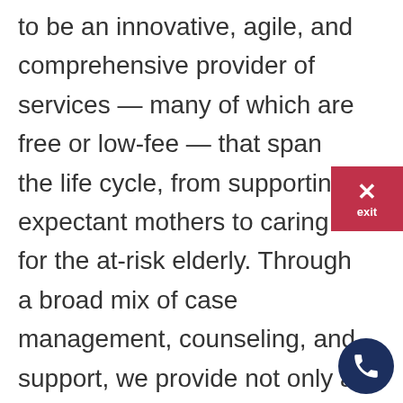to be an innovative, agile, and comprehensive provider of services — many of which are free or low-fee — that span the life cycle, from supporting expectant mothers to caring for the at-risk elderly. Through a broad mix of case management, counseling, and support, we provide not only a safety net but a springboard to those who need it most. Our mission: Break the cycle of poverty, abuse and despair, one person, one family, one generation at a time.